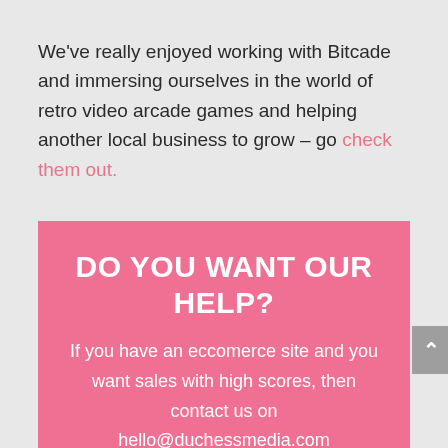We've really enjoyed working with Bitcade and immersing ourselves in the world of retro video arcade games and helping another local business to grow – go check them out.
DO YOU WANT OUR HELP?
If you have an eccomerce site and you want sales with high scores, then contact us on hello@duchessmedia.com